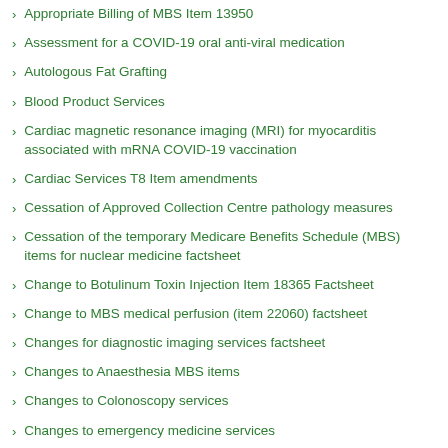Appropriate Billing of MBS Item 13950
Assessment for a COVID-19 oral anti-viral medication
Autologous Fat Grafting
Blood Product Services
Cardiac magnetic resonance imaging (MRI) for myocarditis associated with mRNA COVID-19 vaccination
Cardiac Services T8 Item amendments
Cessation of Approved Collection Centre pathology measures
Cessation of the temporary Medicare Benefits Schedule (MBS) items for nuclear medicine factsheet
Change to Botulinum Toxin Injection Item 18365 Factsheet
Change to MBS medical perfusion (item 22060) factsheet
Changes for diagnostic imaging services factsheet
Changes to Anaesthesia MBS items
Changes to Colonoscopy services
Changes to emergency medicine services
Changes to MBS - 26 February 2021
Changes to MBS...